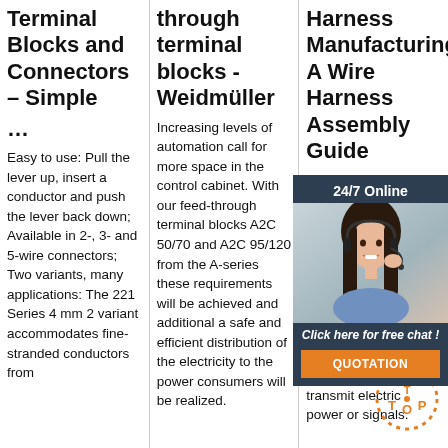Terminal Blocks and Connectors – Simple …
Easy to use: Pull the lever up, insert a conductor and push the lever back down; Available in 2-, 3- and 5-wire connectors; Two variants, many applications: The 221 Series 4 mm 2 variant accommodates fine-stranded conductors from
through terminal blocks - Weidmüller
Increasing levels of automation call for more space in the control cabinet. With our feed-through terminal blocks A2C 50/70 and A2C 95/120 from the A-series these requirements will be achieved and additional a safe and efficient distribution of the electricity to the power consumers will be realized.
Harness Manufacturing: A Wire Harness Assembly Guide
A Wire Harness Manufacturing company provides business to companies in wire harness assembly process. A wire harness is an assembly of wires, cables and connectors that transmit electric power or signals.
[Figure (photo): Customer service representative with headset, smiling, used for live chat widget. Dark background panel with '24/7 Online' header, 'Click here for free chat!' text and orange QUOTATION button.]
[Figure (other): Orange dotted circular 'TOP' badge in the bottom right corner.]